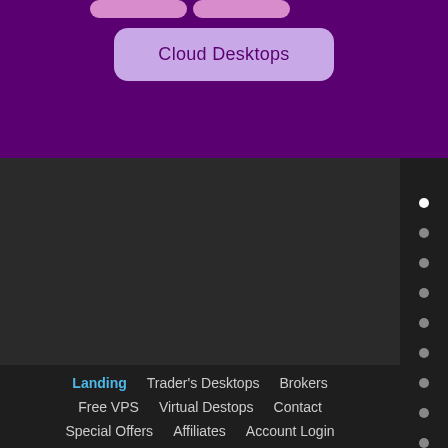[Figure (screenshot): Purple background top section with partial pill-shaped buttons at top edge and a 'Cloud Desktops' button centered below]
Cloud Desktops
[Figure (infographic): Dark gray mid section with navigation dot indicators on the right side, including a chevron/up arrow button]
Landing  Trader's Desktops  Brokers  Free VPS  Virtual Destops  Contact  Special Offers  Affiliates  Account Login